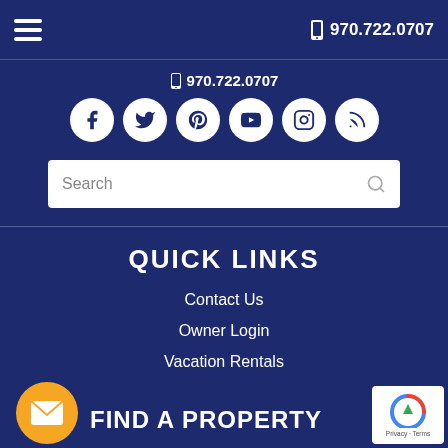970.722.0707
970.722.0707
[Figure (infographic): Social media icons row: Facebook, Twitter, Pinterest, YouTube, Instagram, RSS feed — white circles on dark blue background]
Search
QUICK LINKS
Contact Us
Owner Login
Vacation Rentals
FIND A PROPERTY